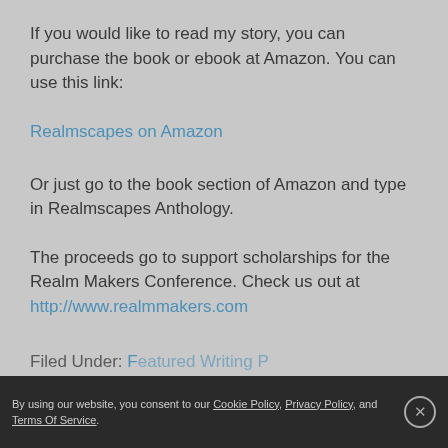If you would like to read my story, you can purchase the book or ebook at Amazon. You can use this link:
Realmscapes on Amazon
Or just go to the book section of Amazon and type in Realmscapes Anthology.
The proceeds go to support scholarships for the Realm Makers Conference. Check us out at http://www.realmmakers.com
Filed Under:
By using our website, you consent to our Cookie Policy, Privacy Policy, and Terms Of Service.